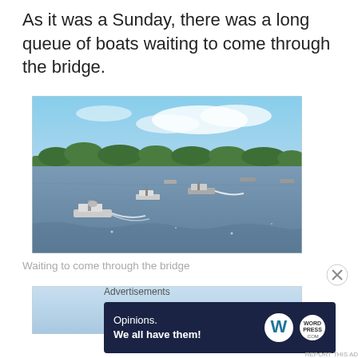As it was a Sunday, there was a long queue of boats waiting to come through the bridge.
[Figure (photo): Photograph of several motorboats queued on a calm waterway with green trees along the far shoreline under a partly cloudy blue sky. Multiple boats are visible traveling on the water, with white wake trails behind them.]
Waiting to come through the bridge
[Figure (photo): Partial photograph visible — shows a light blue sky, cropped at top of image.]
Advertisements
[Figure (infographic): Advertisement banner with dark navy background. Text reads: 'Opinions. We all have them!' with WordPress logo (W circle) and another circular logo on the right side.]